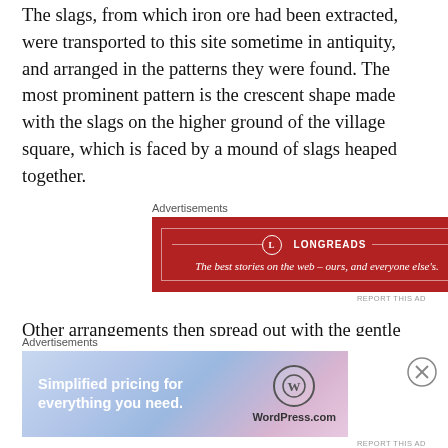The slags, from which iron ore had been extracted, were transported to this site sometime in antiquity, and arranged in the patterns they were found. The most prominent pattern is the crescent shape made with the slags on the higher ground of the village square, which is faced by a mound of slags heaped together.
[Figure (screenshot): Longreads advertisement banner with red background. Text reads: LONGREADS - The best stories on the web - ours, and everyone else's.]
Other arrangements then spread out with the gentle slope of the square. In the middle there's a raised mound of earth, around which slags are arranged.
[Figure (screenshot): WordPress.com advertisement banner with blue-purple gradient background. Text reads: Simplified pricing for everything you need. WordPress.com logo on right.]